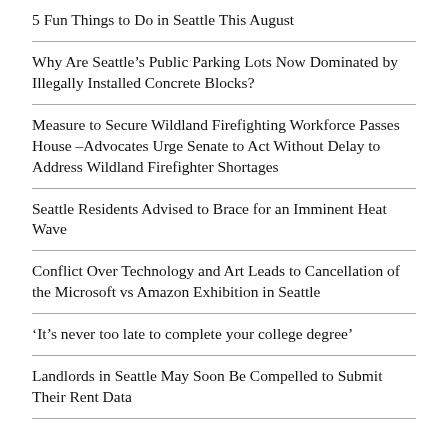5 Fun Things to Do in Seattle This August
Why Are Seattle’s Public Parking Lots Now Dominated by Illegally Installed Concrete Blocks?
Measure to Secure Wildland Firefighting Workforce Passes House –Advocates Urge Senate to Act Without Delay to Address Wildland Firefighter Shortages
Seattle Residents Advised to Brace for an Imminent Heat Wave
Conflict Over Technology and Art Leads to Cancellation of the Microsoft vs Amazon Exhibition in Seattle
‘It’s never too late to complete your college degree’
Landlords in Seattle May Soon Be Compelled to Submit Their Rent Data